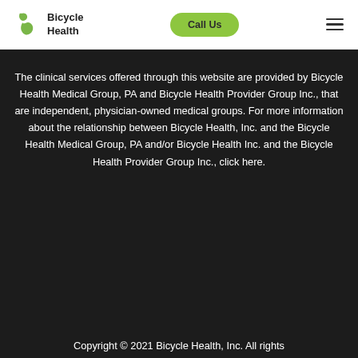Bicycle Health | Call Us
The clinical services offered through this website are provided by Bicycle Health Medical Group, PA and Bicycle Health Provider Group Inc., that are independent, physician-owned medical groups. For more information about the relationship between Bicycle Health, Inc. and the Bicycle Health Medical Group, PA and/or Bicycle Health Inc. and the Bicycle Health Provider Group Inc., click here.
Copyright © 2021 Bicycle Health, Inc. All rights